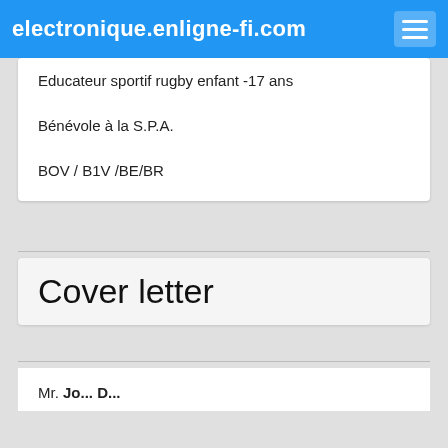electronique.enligne-fi.com
Educateur sportif rugby enfant -17 ans
Bénévole à la S.P.A.
BOV / B1V /BE/BR
Cover letter
Mr. Jo... D...